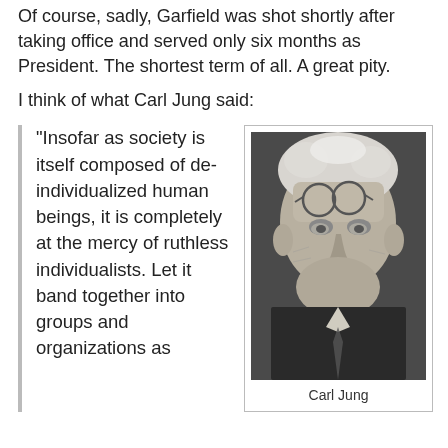Of course, sadly, Garfield was shot shortly after taking office and served only six months as President.  The shortest term of all.  A great pity.
I think of what Carl Jung said:
“Insofar as society is itself composed of de-individualized human beings, it is completely at the mercy of ruthless individualists. Let it band together into groups and organizations as
[Figure (photo): Black and white portrait photograph of Carl Jung, an elderly man with white hair and round glasses pushed up on his forehead, wearing a suit and tie, smiling slightly.]
Carl Jung